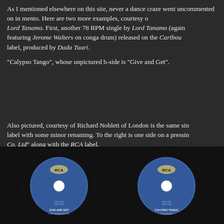As I mentioned elsewhere on this site, never a dance craze went uncommented on in mento. Here are two more examples, courtesy of Lord Tanamo. First, another 78 RPM single by Lord Tanamo (again featuring Jerome Walters on conga drum) released on the Caribou label, produced by Dada Tuari.
"Calypso Tango", whose unpictured b-side is "Give and Get".
Also pictured, courtesy of Richard Noblett of London is the same single label with some minor renaming. To the right is one side on a pressing Co. Ltd" along with the RCA label.
[Figure (photo): Two blue RCA vinyl record labels side by side. Left record shows 'GIVE AND GET' text at bottom. Right record shows 'CALYPSO TANGO' text at bottom. Both feature the RCA logo at the top and white center holes.]